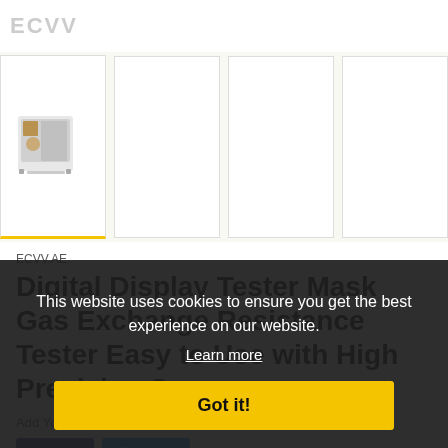ECVV
[Figure (photo): Product thumbnail gallery showing a Digital Display Tester Mask Gas Exchange machine. First thumbnail is active (highlighted with yellow bottom border) showing a white laboratory machine. Three other empty white thumbnail boxes follow.]
ECVV.AE
Digital Display Tester Mask Gas Exchange Resistance Tester Easy to Use with High Precision Sensor
Add Your Review
Share  Tweet
Available: In Stock
This website uses cookies to ensure you get the best experience on our website. Learn more Got it!